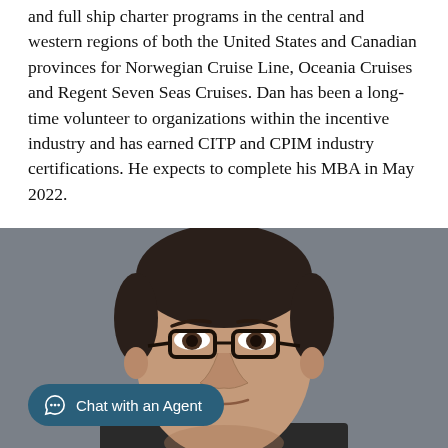and full ship charter programs in the central and western regions of both the United States and Canadian provinces for Norwegian Cruise Line, Oceania Cruises and Regent Seven Seas Cruises. Dan has been a long-time volunteer to organizations within the incentive industry and has earned CITP and CPIM industry certifications. He expects to complete his MBA in May 2022.
[Figure (photo): Headshot photograph of a man with short dark hair and glasses, against a grey background. A chat widget overlay reads 'Chat with an Agent'.]